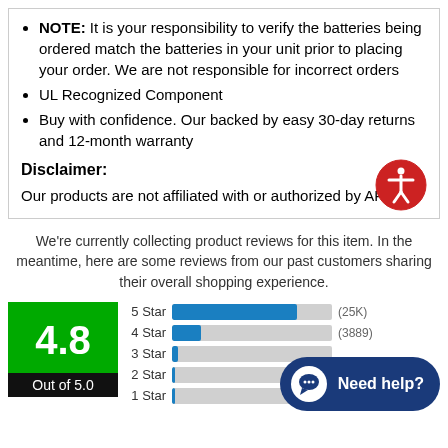NOTE: It is your responsibility to verify the batteries being ordered match the batteries in your unit prior to placing your order. We are not responsible for incorrect orders
UL Recognized Component
Buy with confidence. Our backed by easy 30-day returns and 12-month warranty
Disclaimer:
Our products are not affiliated with or authorized by APC
We're currently collecting product reviews for this item. In the meantime, here are some reviews from our past customers sharing their overall shopping experience.
[Figure (bar-chart): Ratings breakdown]